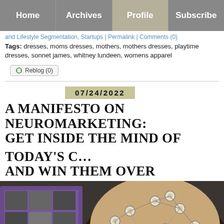Home | Archives | Profile | Subscribe
and Lifestyle Segmentation, Startups | Permalink | Comments (0)
Tags: dresses, moms dresses, mothers, mothers dresses, playtime dresses, sonnet james, whitney lundeen, womens apparel
Reblog (0)
07/24/2022
A MANIFESTO ON NEUROMARKETING: GET INSIDE THE MIND OF TODAY'S CONSUMER AND WIN THEM OVER
[Figure (photo): Photo of a person wearing an EEG brain-scanning cap with many electrode connectors, with a laptop visible in the background]